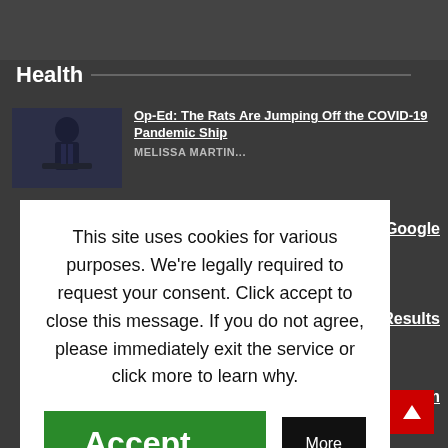Health
Op-Ed: The Rats Are Jumping Off the COVID-19 Pandemic Ship
MELISSA MARTIN...
" After Google
ical Trial Results
llowing Criticism
This site uses cookies for various purposes. We're legally required to request your consent. Click accept to close this message. If you do not agree, please immediately exit the service or click more to learn why.
Accept
More